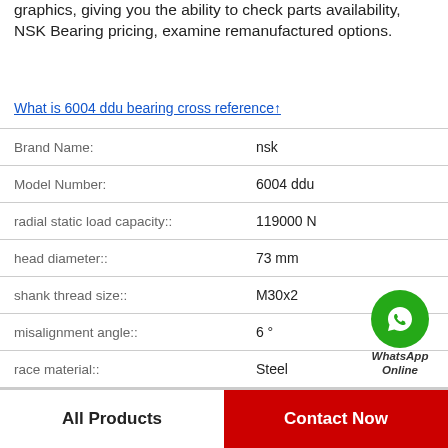graphics, giving you the ability to check parts availability, NSK Bearing pricing, examine remanufactured options.
What is 6004 ddu bearing cross reference↑
| Property | Value |
| --- | --- |
| Brand Name: | nsk |
| Model Number: | 6004 ddu |
| radial static load capacity:: | 119000 N |
| head diameter:: | 73 mm |
| shank thread size:: | M30x2 |
| misalignment angle:: | 6 ° |
| race material:: | Steel |
[Figure (logo): WhatsApp Online green phone icon with text WhatsApp Online]
All Products
Contact Now